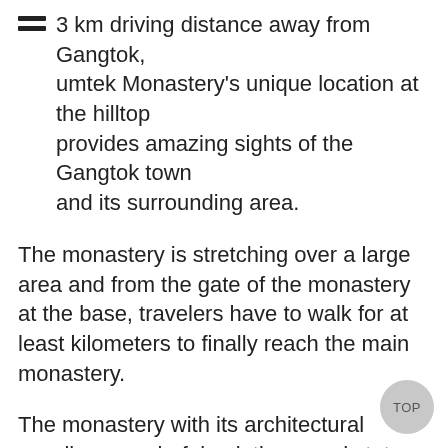3 km driving distance away from Gangtok, umtek Monastery's unique location at the hilltop provides amazing sights of the Gangtok town and its surrounding area.
The monastery is stretching over a large area and from the gate of the monastery at the base, travelers have to walk for at least kilometers to finally reach the main monastery.
The monastery with its architectural excellence, colorful paintings, and statues awestruck every kind of traveler visiting the monastery for the first time.
Visiting Time: 6 am – 6 pm everyday